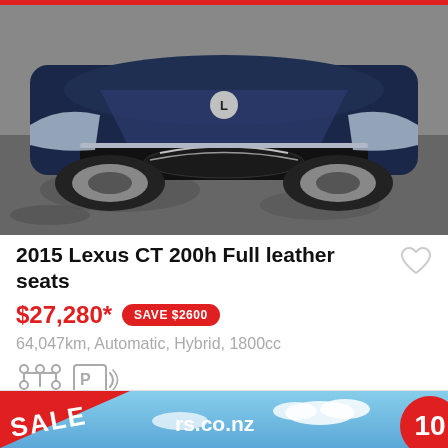[Figure (photo): Front view of a dark navy blue 2015 Lexus CT 200h car parked on a wet asphalt surface]
2015 Lexus CT 200h Full leather seats
$27,280* SAVE $2600
64,047km, Automatic, Hybrid, 1800cc
[Figure (illustration): Transmission type icon (automatic) and parking sensor icon]
Ask us about Finance & Insurance
[Figure (photo): Sale banner with red triangle overlay showing SALE text, blue sky background, website URL ending in rs.co.nz, and circular number badge showing 10]